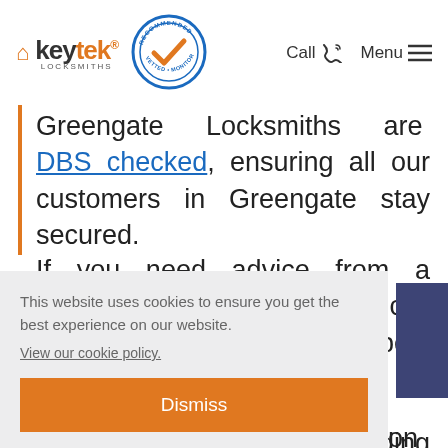keytek LOCKSMITHS — Recommended Vetted Monitored badge — Call | Menu
Greengate Locksmiths are DBS checked, ensuring all our customers in Greengate stay secured.
If you need advice from a Greengate local Locksmith, call us now. We provide the best advice on how to secure your home in Greengate, the leading locksmiths
This website uses cookies to ensure you get the best experience on our website. View our cookie policy.
Dismiss